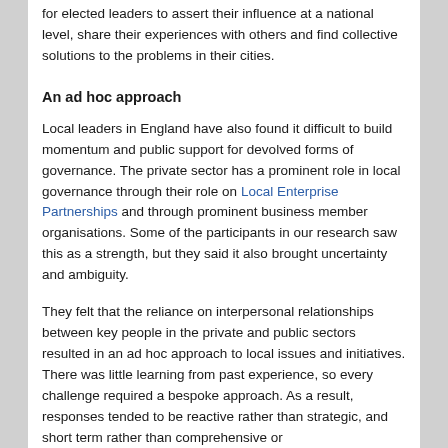for elected leaders to assert their influence at a national level, share their experiences with others and find collective solutions to the problems in their cities.
An ad hoc approach
Local leaders in England have also found it difficult to build momentum and public support for devolved forms of governance. The private sector has a prominent role in local governance through their role on Local Enterprise Partnerships and through prominent business member organisations. Some of the participants in our research saw this as a strength, but they said it also brought uncertainty and ambiguity.
They felt that the reliance on interpersonal relationships between key people in the private and public sectors resulted in an ad hoc approach to local issues and initiatives. There was little learning from past experience, so every challenge required a bespoke approach. As a result, responses tended to be reactive rather than strategic, and short term rather than comprehensive or